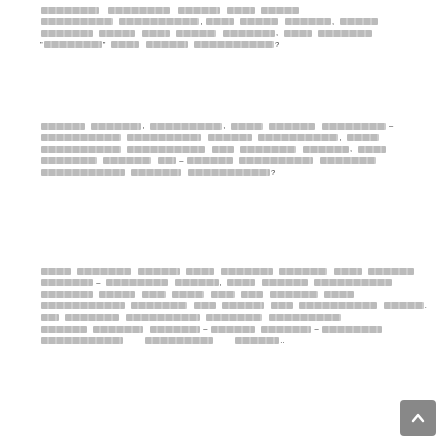[redacted text block 1 - obscured/redacted content with question mark at end]
[redacted text block 2 - obscured/redacted content with em-dash and question mark]
[redacted text block 3 - obscured/redacted content with em-dashes]